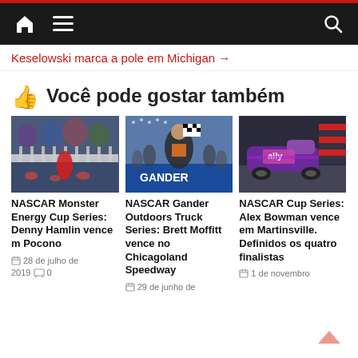Navigation bar with home, menu, and search icons
Keselowski marca a pole em Michigan →
👍 Você pode gostar também
[Figure (photo): NASCAR race photo - crowd celebration at Pocono]
NASCAR Monster Energy Cup Series: Denny Hamlin vence m Pocono
28 de julho de 2019  0
[Figure (photo): NASCAR Gander race winner celebration - GANDER sign visible]
NASCAR Gander Outdoors Truck Series: Brett Moffitt vence no Chicagoland Speedway
29 de junho de
[Figure (photo): NASCAR Ally sponsored car on track]
NASCAR Cup Series: Alex Bowman vence em Martinsville. Definidos os quatro finalistas
1 de novembro